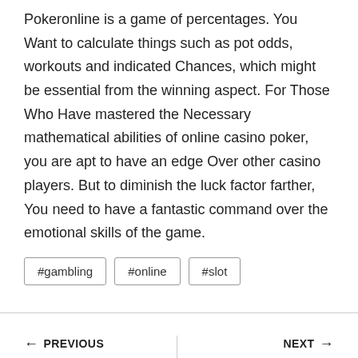Pokeronline is a game of percentages. You Want to calculate things such as pot odds, workouts and indicated Chances, which might be essential from the winning aspect. For Those Who Have mastered the Necessary mathematical abilities of online casino poker, you are apt to have an edge Over other casino players. But to diminish the luck factor farther, You need to have a fantastic command over the emotional skills of the game.
#gambling
#online
#slot
← PREVIOUS
Best way to try a new cuisine
NEXT →
Mediaonmars is the best Digital marketing